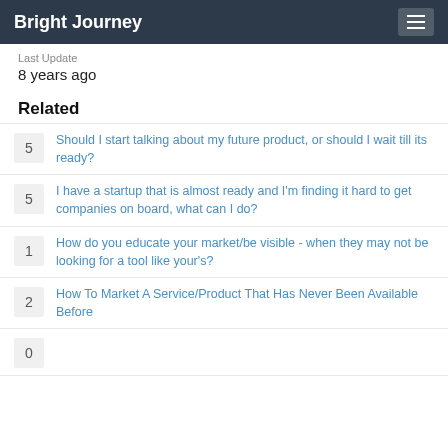Bright Journey
Last Update
8 years ago
Related
5 Should I start talking about my future product, or should I wait till its ready?
5 I have a startup that is almost ready and I'm finding it hard to get companies on board, what can I do?
1 How do you educate your market/be visible - when they may not be looking for a tool like your's?
2 How To Market A Service/Product That Has Never Been Available Before
0 ...